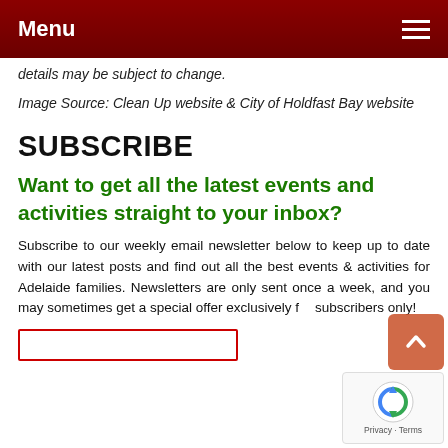Menu
details may be subject to change.
Image Source: Clean Up website & City of Holdfast Bay website
SUBSCRIBE
Want to get all the latest events and activities straight to your inbox?
Subscribe to our weekly email newsletter below to keep up to date with our latest posts and find out all the best events & activities for Adelaide families. Newsletters are only sent once a week, and you may sometimes get a special offer exclusively for subscribers only!